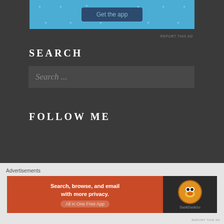[Figure (screenshot): Advertisement banner with light blue background and 'Get the app' button]
REPORT THIS AD
SEARCH
Search ...
FOLLOW ME
Advertisements
[Figure (screenshot): DuckDuckGo advertisement: 'Search, browse, and email with more privacy. All in One Free App']